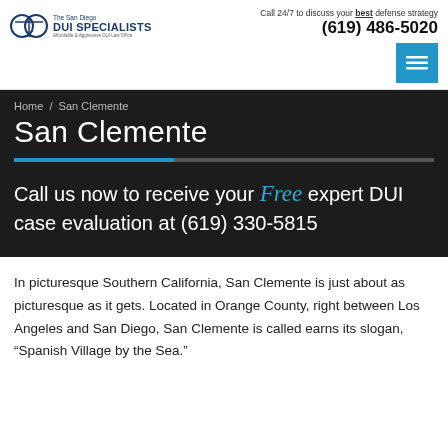[Figure (logo): The San Diego DUI Specialists logo with scales of justice icon]
Call 24/7 to discuss your best defense strategy
(619) 486-5020
Home / San Clemente
San Clemente
Call us now to receive your Free expert DUI case evaluation at (619) 330-5815
In picturesque Southern California, San Clemente is just about as picturesque as it gets. Located in Orange County, right between Los Angeles and San Diego, San Clemente is called earns its slogan, “Spanish Village by the Sea.”